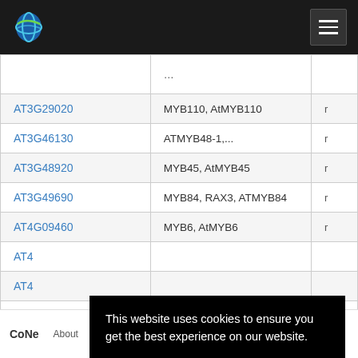[Figure (logo): CoNe website logo (blue/green globe) in dark navbar with hamburger menu icon]
| Gene ID | Name/Alias |  |
| --- | --- | --- |
| AT3G29020 | MYB110, AtMYB110 | r |
| AT3G46130 | ATMYB48-1,... | r |
| AT3G48920 | MYB45, AtMYB45 | r |
| AT3G49690 | MYB84, RAX3, ATMYB84 | r |
| AT4G09460 | MYB6, AtMYB6 | r |
| AT4 |  |  |
| AT4 |  |  |
| AT4 |  |  |
| AT5 |  |  |
This website uses cookies to ensure you get the best experience on our website. Learn more
CoNe   About   Contact   Disclaimer   Privacy policy